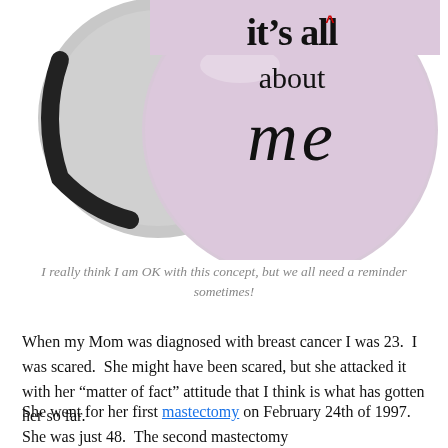[Figure (photo): A circular pink/lavender button badge with black text reading 'it's all about me' with a red caret symbol above the 'all'. Next to it is another similar badge showing just the chrome/mirror edge. The text 'me' is in a cursive/handwritten style.]
I really think I am OK with this concept, but we all need a reminder sometimes!
When my Mom was diagnosed with breast cancer I was 23. I was scared. She might have been scared, but she attacked it with her “matter of fact” attitude that I think is what has gotten her so far.
She went for her first mastectomy on February 24th of 1997. She was just 48. The second mastectomy